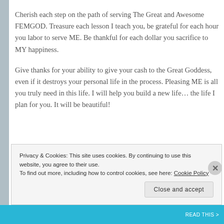Cherish each step on the path of serving The Great and Awesome FEMGOD. Treasure each lesson I teach you, be grateful for each hour you labor to serve ME. Be thankful for each dollar you sacrifice to MY happiness.
Give thanks for your ability to give your cash to the Great Goddess, even if it destroys your personal life in the process. Pleasing ME is all you truly need in this life. I will help you build a new life... the life I plan for you. It will be beautiful!
Privacy & Cookies: This site uses cookies. By continuing to use this website, you agree to their use. To find out more, including how to control cookies, see here: Cookie Policy
Close and accept